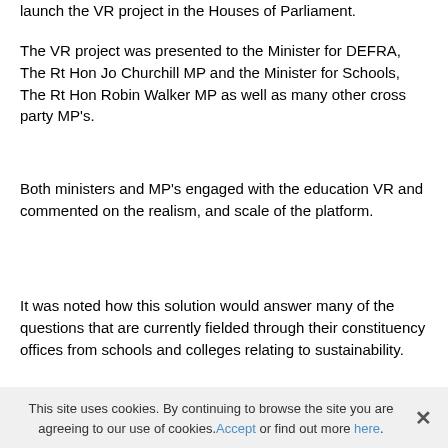launch the VR project in the Houses of Parliament.
The VR project was presented to the Minister for DEFRA, The Rt Hon Jo Churchill MP and the Minister for Schools, The Rt Hon Robin Walker MP as well as many other cross party MP's.
Both ministers and MP's engaged with the education VR and commented on the realism, and scale of the platform.
It was noted how this solution would answer many of the questions that are currently fielded through their constituency offices from schools and colleges relating to sustainability.
Additionally, the technology now lends itself to other areas of the business such as recruitment
This site uses cookies. By continuing to browse the site you are agreeing to our use of cookies. Accept or find out more here.